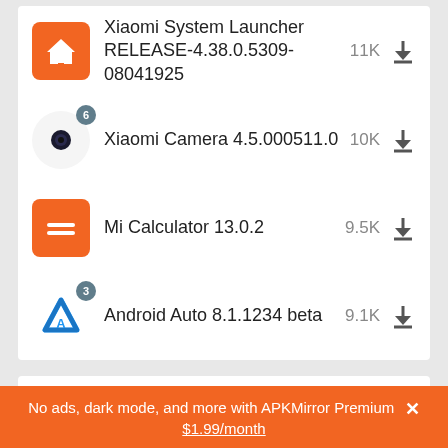Xiaomi System Launcher RELEASE-4.38.0.5309-08041925 11K
Xiaomi Camera 4.5.000511.0 10K
Mi Calculator 13.0.2 9.5K
Android Auto 8.1.1234 beta 9.1K
Popular In Last 24 Hours
No ads, dark mode, and more with APKMirror Premium × $1.99/month